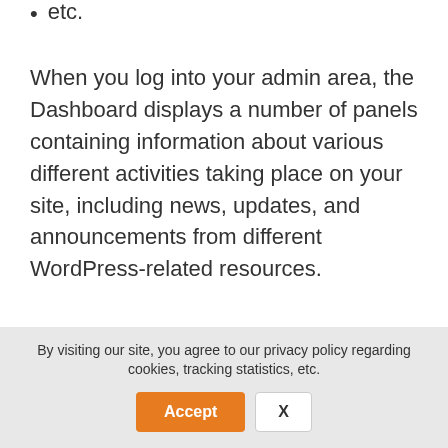etc.
When you log into your admin area, the Dashboard displays a number of panels containing information about various different activities taking place on your site, including news, updates, and announcements from different WordPress-related resources.
[Figure (screenshot): WordPress admin dashboard screenshot showing the admin bar, sidebar with Dashboard/Home/Updates, main working area with 'Working Area' label in red, and panels for 'At a Glance' and 'Quick Draft' with red arrows pointing to the working area.]
By visiting our site, you agree to our privacy policy regarding cookies, tracking statistics, etc.